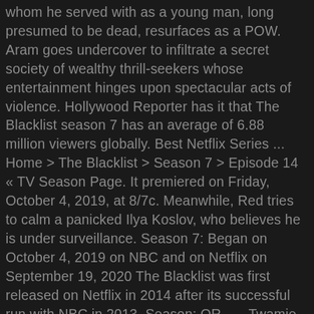whom he served with as a young man, long presumed to be dead, resurfaces as a POW. Aram goes undercover to infiltrate a secret society of wealthy thrill-seekers whose entertainment hinges upon spectacular acts of violence. Hollywood Reporter has it that The Blacklist season 7 has an average of 6.88 million viewers globally. Best Netflix Series ... Home > The Blacklist > Season 7 > Episode 14 « TV Season Page. It premiered on Friday, October 4, 2019, at 8/7c. Meanwhile, Red tries to calm a panicked Ilya Koslov, who believes he is under surveillance. Season 7: Began on October 4, 2019 on NBC and on Netflix on September 19, 2020 The Blacklist was first released on Netflix in 2014 after its successful run with NBC in 2013. Season: OR . ... Twamie Ullulaq The Blacklist Season 7. The series has an approval rating of 100% based on 5-star reviews for its 5 th run. Season 7, Episode 14 Twamie Ullulaq First Aired: April 10, 2020 A Blacklist case becomes personal for Agent Park when the team investigates a mysterious disappearance in the Alaska Triangle. The action-packed sequel is finally available! The Blacklist is an American crime drama series created by Jon Bokenkamp that premiered on